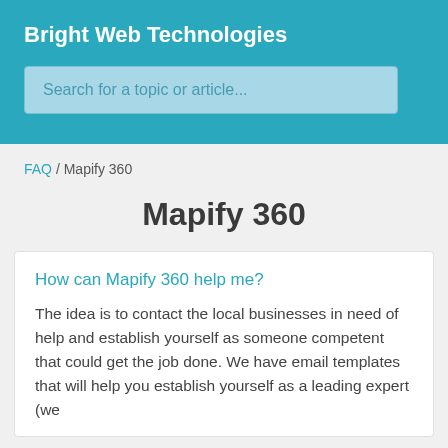Bright Web Technologies
Search for a topic or article...
FAQ / Mapify 360
Mapify 360
How can Mapify 360 help me?
The idea is to contact the local businesses in need of help and establish yourself as someone competent that could get the job done. We have email templates that will help you establish yourself as a leading expert (we